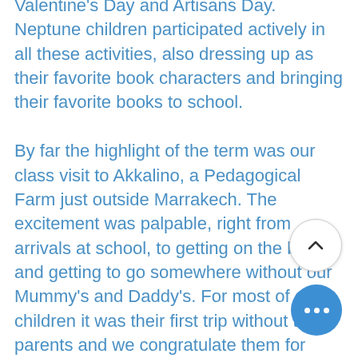Valentine's Day and Artisans Day. Neptune children participated actively in all these activities, also dressing up as their favorite book characters and bringing their favorite books to school. By far the highlight of the term was our class visit to Akkalino, a Pedagogical Farm just outside Marrakech. The excitement was palpable, right from arrivals at school, to getting on the bus and getting to go somewhere without our Mummy's and Daddy's. For most of our children it was their first trip without their parents and we congratulate them for behaving so well throughout the day. At the farm, Mr Moe showed us how